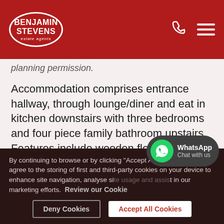[Figure (logo): Benjamin Stevens Estate Agents logo - white oval outline on red background with white text]
planning permission.
Accommodation comprises entrance hallway, through lounge/diner and eat in kitchen downstairs with three bedrooms and four piece family bathroom upstairs. Features include wooden flooring, off street parking for two cars and mature garden.
To arrange an early viewing please contact our Edgware office
By continuing to browse or by clicking "Accept All Cookies" you agree to the storing of first and third-party cookies on your device to enhance site navigation, analyse site usage and assist in our marketing efforts. Review our Cookie
Deny Cookies
Accept All Cookies